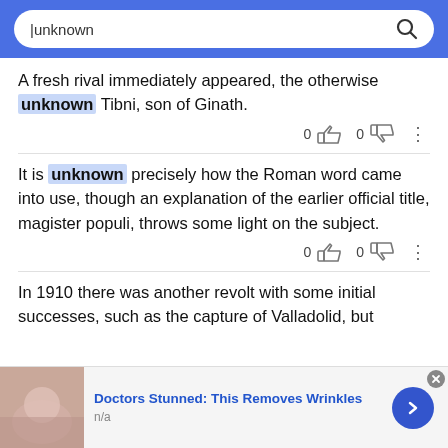[Figure (screenshot): Search bar with 'unknown' query text on blue background]
A fresh rival immediately appeared, the otherwise unknown Tibni, son of Ginath.
It is unknown precisely how the Roman word came into use, though an explanation of the earlier official title, magister populi, throws some light on the subject.
In 1910 there was another revolt with some initial successes, such as the capture of Valladolid, but
[Figure (screenshot): Advertisement banner: Doctors Stunned: This Removes Wrinkles, n/a]